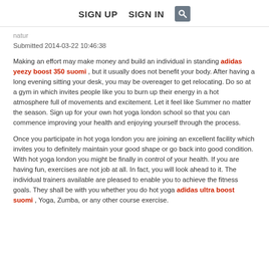SIGN UP   SIGN IN   [search icon]
natur
Submitted 2014-03-22 10:46:38
Making an effort may make money and build an individual in standing adidas yeezy boost 350 suomi , but it usually does not benefit your body. After having a long evening sitting your desk, you may be overeager to get relocating. Do so at a gym in which invites people like you to burn up their energy in a hot atmosphere full of movements and excitement. Let it feel like Summer no matter the season. Sign up for your own hot yoga london school so that you can commence improving your health and enjoying yourself through the process.
Once you participate in hot yoga london you are joining an excellent facility which invites you to definitely maintain your good shape or go back into good condition. With hot yoga london you might be finally in control of your health. If you are having fun, exercises are not job at all. In fact, you will look ahead to it. The individual trainers available are pleased to enable you to achieve the fitness goals. They shall be with you whether you do hot yoga adidas ultra boost suomi , Yoga, Zumba, or any other course exercise.